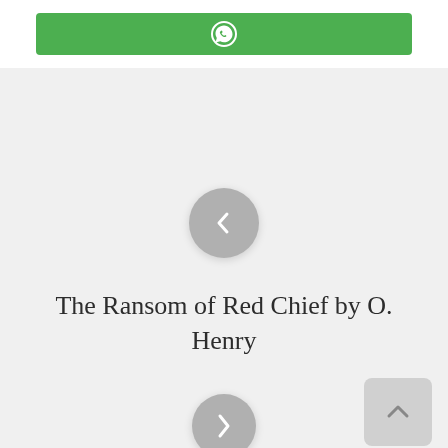[Figure (logo): Green WhatsApp share button with WhatsApp icon (speech bubble with phone)]
[Figure (other): Gray circular back navigation button with left-pointing chevron arrow]
The Ransom of Red Chief by O. Henry
[Figure (other): Gray circular forward navigation button partially visible at bottom, and gray rounded square scroll-to-top button at bottom right with up arrow]